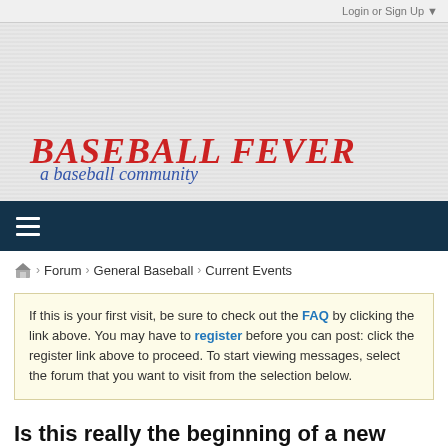Login or Sign Up ▼
[Figure (logo): Baseball Fever logo — 'BASEBALL FEVER' in red bold italic serif text with 'a baseball community' in blue italic script below]
[Figure (other): Dark teal navigation bar with hamburger menu icon (three white horizontal lines)]
⌂ › Forum › General Baseball › Current Events
If this is your first visit, be sure to check out the FAQ by clicking the link above. You may have to register before you can post: click the register link above to proceed. To start viewing messages, select the forum that you want to visit from the selection below.
Is this really the beginning of a new pitchers' era?